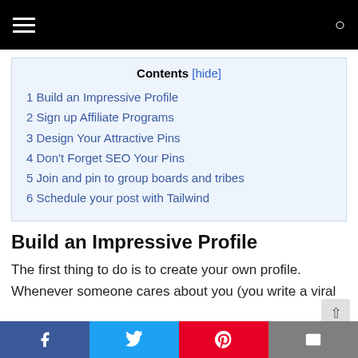[Navigation bar with hamburger menu and search icon]
| Contents |
| --- |
| 1 Build an Impressive Profile |
| 2 Sign up Affiliate Programs |
| 3 Design Your Attractive Pins |
| 4 Don't Forget SEO Your Pins |
| 5 Join and pin to group boards and tribes |
| 6 Schedule your post with Tailwind |
Build an Impressive Profile
The first thing to do is to create your own profile. Whenever someone cares about you (you write a viral
[Social share bar: Facebook, Twitter, Pinterest, Email]